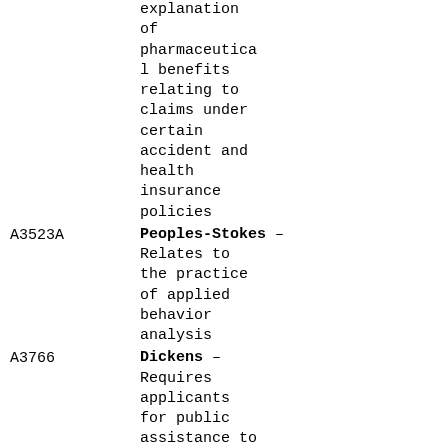explanation of pharmaceutical benefits relating to claims under certain accident and health insurance policies
A3523A  Peoples-Stokes – Relates to the practice of applied behavior analysis
A3766  Dickens – Requires applicants for public assistance to be fully informed that they may be liable to reimburse the